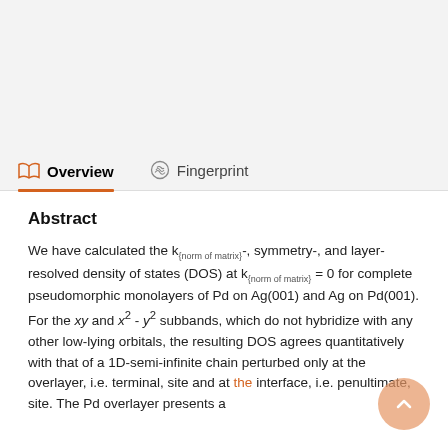Overview | Fingerprint
Abstract
We have calculated the k_{norm of matrix}-, symmetry-, and layer-resolved density of states (DOS) at k_{norm of matrix} = 0 for complete pseudomorphic monolayers of Pd on Ag(001) and Ag on Pd(001). For the xy and x² - y² subbands, which do not hybridize with any other low-lying orbitals, the resulting DOS agrees quantitatively with that of a 1D-semi-infinite chain perturbed only at the overlayer, i.e. terminal, site and at the interface, i.e. penultimate, site. The Pd overlayer presents a